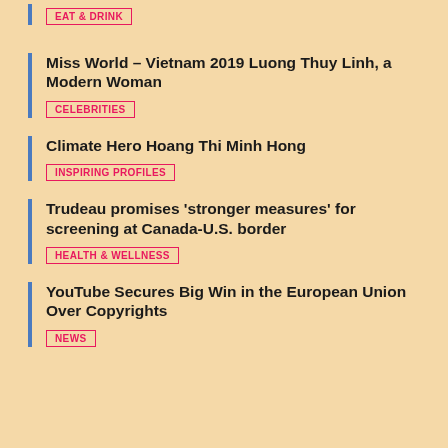EAT & DRINK
Miss World – Vietnam 2019 Luong Thuy Linh, a Modern Woman
Climate Hero Hoang Thi Minh Hong
Trudeau promises 'stronger measures' for screening at Canada-U.S. border
YouTube Secures Big Win in the European Union Over Copyrights